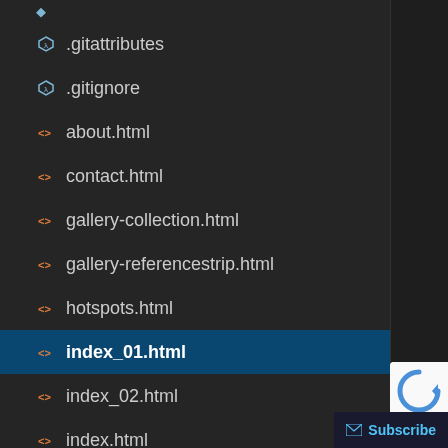.gitattributes
.gitignore
about.html
contact.html
gallery-collection.html
gallery-referencestrip.html
hotspots.html
index_01.html
index_02.html
index.html
ochreCSV.html
README.md
Subscribe